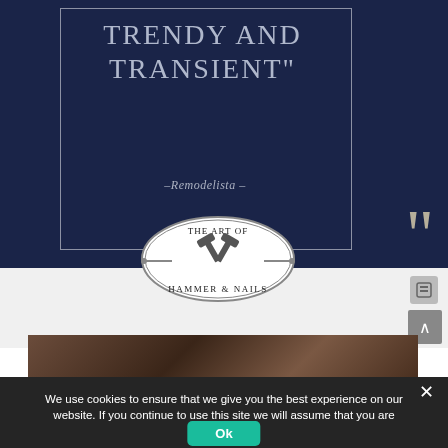TRENDY AND TRANSIENT"
–Remodelista –
[Figure (logo): Oval logo for 'The Art of Hammer & Nails' with crossed hammers and nail imagery]
[Figure (photo): Partial photo showing wooden or leather surface, dark tones]
We use cookies to ensure that we give you the best experience on our website. If you continue to use this site we will assume that you are happy with it.